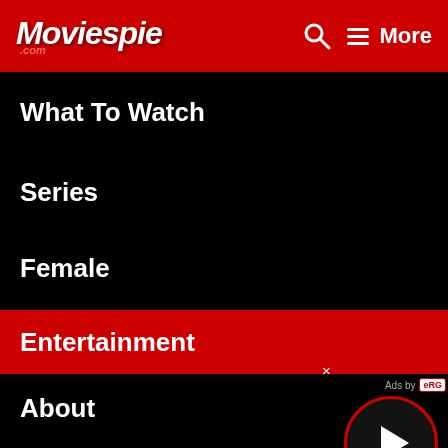Moviespie .com — Search — More (navigation header)
What To Watch
Series
Female
Entertainment
About
Movies News
Films
Festivals
[Figure (screenshot): Video player overlay with close button (×), Ads by eRG label, and a circular play button with red border and white triangle]